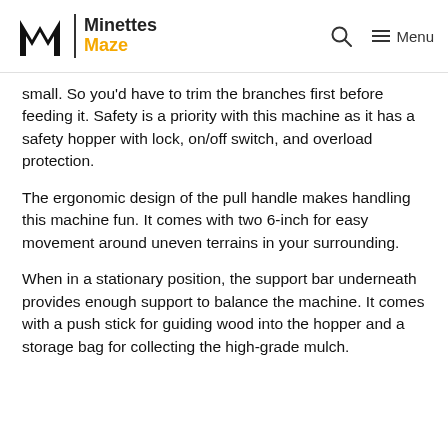Minettes Maze
small. So you'd have to trim the branches first before feeding it. Safety is a priority with this machine as it has a safety hopper with lock, on/off switch, and overload protection.
The ergonomic design of the pull handle makes handling this machine fun. It comes with two 6-inch for easy movement around uneven terrains in your surrounding.
When in a stationary position, the support bar underneath provides enough support to balance the machine. It comes with a push stick for guiding wood into the hopper and a storage bag for collecting the high-grade mulch.